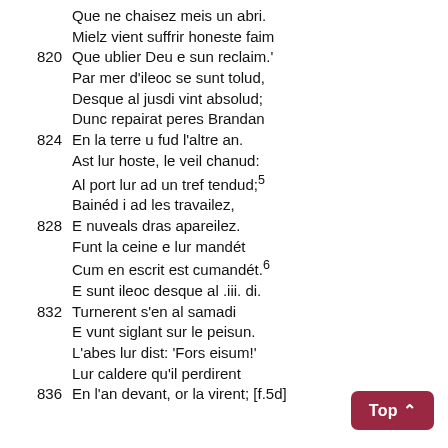Que ne chaisez meis un abri.
Mielz vient suffrir honeste faim
820  Que ublier Deu e sun reclaim.'
Par mer d'ileoc se sunt tolud,
Desque al jusdi vint absolud;
Dunc repairat peres Brandan
824  En la terre u fud l'altre an.
Ast lur hoste, le veil chanud:
Al port lur ad un tref tendud;5
Bainéd i ad les travailez,
828  E nuveals dras apareilez.
Funt la ceine e lur mandét
Cum en escrit est cumandét.6
E sunt ileoc desque al .iii. di.
832  Turnerent s'en al samadi
E vunt siglant sur le peisun.
L'abes lur dist: 'Fors eisum!'
Lur caldere qu'il perdirent
836  En l'an devant, or la virent; [f.5d]